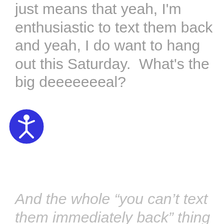just means that yeah, I'm enthusiastic to text them back and yeah, I do want to hang out this Saturday.  What's the big deeeeeeeal?
[Figure (illustration): Accessibility icon: a blue circle with a white stylized person figure (universal accessibility symbol)]
And the whole “you can’t text them immediately back” thing is totally not cool.